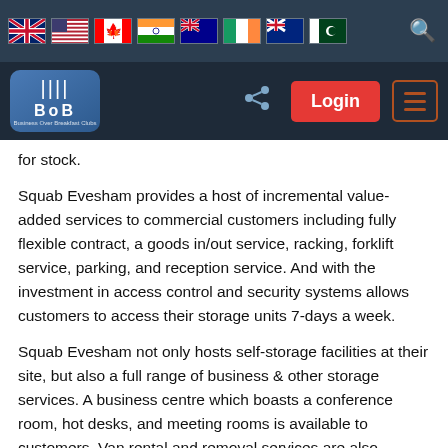[Figure (screenshot): Navigation header with country flag icons (UK, USA, Canada, India, Australia, Ireland, New Zealand, Pakistan) and a search icon on dark background]
[Figure (screenshot): Website navigation bar with BoB logo, share icon, red Login button, and hamburger menu on dark background]
for stock.
Squab Evesham provides a host of incremental value-added services to commercial customers including fully flexible contract, a goods in/out service, racking, forklift service, parking, and reception service. And with the investment in access control and security systems allows customers to access their storage units 7-days a week.
Squab Evesham not only hosts self-storage facilities at their site, but also a full range of business & other storage services. A business centre which boasts a conference room, hot desks, and meeting rooms is available to customers. Van rental and removal services are also provided. We are able to offer Confidential Shredding with a delivery/collection service as well as boxing and packing materials.
Our newest venture is container storage and caravan/vehicle storage